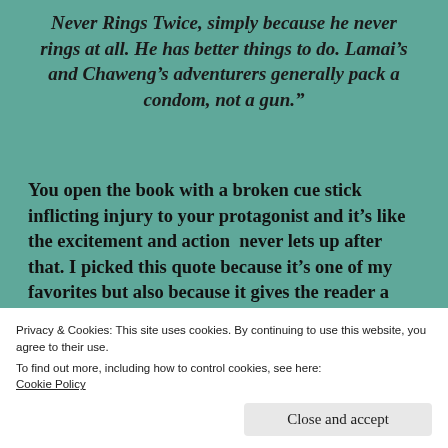Never Rings Twice, simply because he never rings at all. He has better things to do. Lamai's and Chaweng's adventurers generally pack a condom, not a gun."
You open the book with a broken cue stick inflicting injury to your protagonist and it's like the excitement and action  never lets up after that. I picked this quote because it's one of my favorites but also because it gives the reader a sample of your splendid writing...
Privacy & Cookies: This site uses cookies. By continuing to use this website, you agree to their use.
To find out more, including how to control cookies, see here:
Cookie Policy
Close and accept